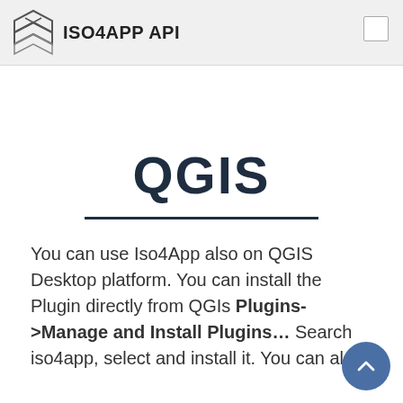ISO4APP API
QGIS
You can use Iso4App also on QGIS Desktop platform. You can install the Plugin directly from QGIs Plugins->Manage and Install Plugins… Search iso4app, select and install it. You can al…